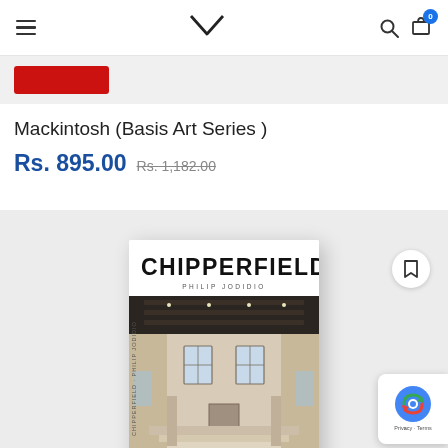Navigation bar with hamburger menu, book logo, search and cart icons (cart badge: 0)
Mackintosh (Basis Art Series )
Rs. 895.00  Rs. 1,182.00
[Figure (photo): Book cover of Chipperfield, showing interior of a grand hall with high ceilings, arched windows, and grand staircase; book shown as a physical volume with white cover]
CHIPPERFIELD